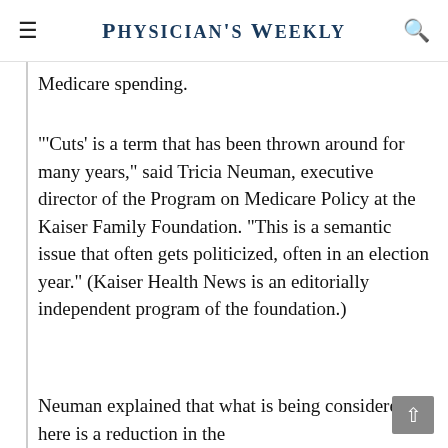Physician's Weekly
Medicare spending.
"'Cuts' is a term that has been thrown around for many years," said Tricia Neuman, executive director of the Program on Medicare Policy at the Kaiser Family Foundation. "This is a semantic issue that often gets politicized, often in an election year." (Kaiser Health News is an editorially independent program of the foundation.)
Neuman explained that what is being considered here is a reduction in the